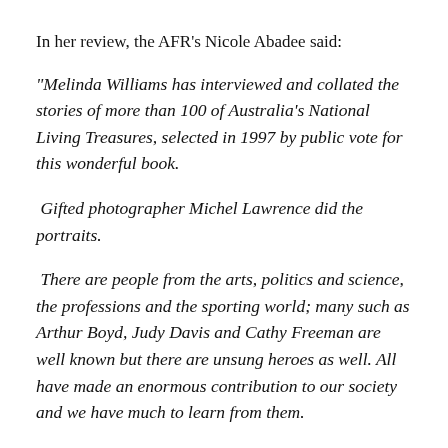In her review, the AFR's Nicole Abadee said:
“Melinda Williams has interviewed and collated the stories of more than 100 of Australia’s National Living Treasures, selected in 1997 by public vote for this wonderful book.

 Gifted photographer Michel Lawrence did the portraits.

 There are people from the arts, politics and science, the professions and the sporting world; many such as Arthur Boyd, Judy Davis and Cathy Freeman are well known but there are unsung heroes as well. All have made an enormous contribution to our society and we have much to learn from them.